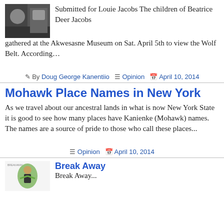[Figure (photo): Small thumbnail photo of people, dark toned, top-left of first article.]
Submitted for Louie Jacobs The children of Beatrice Deer Jacobs gathered at the Akwesasne Museum on Sat. April 5th to view the Wolf Belt. According…
By Doug George Kanentiio  Opinion  April 10, 2014
Mohawk Place Names in New York
As we travel about our ancestral lands in what is now New York State it is good to see how many places have Kanienke (Mohawk) names. The names are a source of pride to those who call these places...
Opinion  April 10, 2014
[Figure (illustration): Small illustrated thumbnail for Break Away article, shows a figure with green elements.]
Break Away
Break Away...